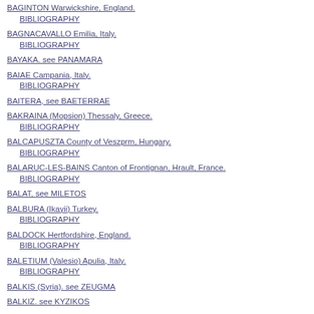BAGINTON Warwickshire, England.
    BIBLIOGRAPHY
BAGNACAVALLO Emilia, Italy.
    BIBLIOGRAPHY
BAYAKA. see PANAMARA
BAIAE Campania, Italy.
    BIBLIOGRAPHY
BAITERA, see BAETERRAE
BAKRAINA (Mopsion) Thessaly, Greece.
    BIBLIOGRAPHY
BALCAPUSZTA County of Veszprm, Hungary.
    BIBLIOGRAPHY
BALARUC-LES-BAINS Canton of Frontignan, Hrault, France.
    BIBLIOGRAPHY
BALAT, see MILETOS
BALBURA (Ikayii) Turkey.
    BIBLIOGRAPHY
BALDOCK Hertfordshire, England.
    BIBLIOGRAPHY
BALETIUM (Valesio) Apulia, Italy.
    BIBLIOGRAPHY
BALKIS (Syria), see ZEUGMA
BALKIZ. see KYZIKOS
BALLA. see VERGHINA